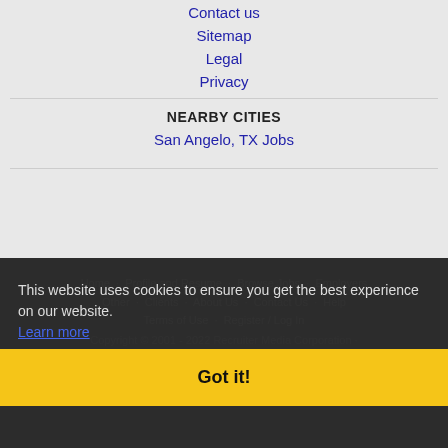Contact us
Sitemap
Legal
Privacy
NEARBY CITIES
San Angelo, TX Jobs
Home · Profile and Resume · Browse Jobs · Employers · Other · Clients · About Us · Contact Us · Help · Terms of Use · Register / Log In
Copyright © 2001 - 2022 Recruiter Media Corporation · Abilene Jobs
This website uses cookies to ensure you get the best experience on our website. Learn more
Got it!
[Figure (logo): Authorize.Net logo — partial, bottom of page]